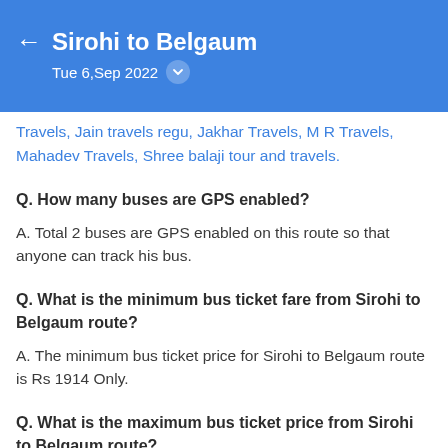Sirohi to Belgaum — Tue 6,Sep 2022
Travels, Jain travels regu, Jakhar Travels, M R Travels, Mahadev Travels, Shree balaji tour and travels.
Q. How many buses are GPS enabled?
A. Total 2 buses are GPS enabled on this route so that anyone can track his bus.
Q. What is the minimum bus ticket fare from Sirohi to Belgaum route?
A. The minimum bus ticket price for Sirohi to Belgaum route is Rs 1914 Only.
Q. What is the maximum bus ticket price from Sirohi to Belgaum route?
A. The maximum bus ticket price for Sirohi to Belgaum route is Rs 3918.